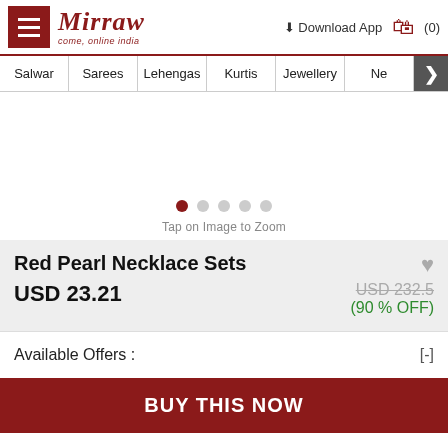Mirraw - come, online India | Download App | (0)
Salwar
Sarees
Lehengas
Kurtis
Jewellery
Ne
[Figure (other): Product image carousel with 5 dots indicator; first dot active (dark red), rest gray. Text below: Tap on Image to Zoom]
Red Pearl Necklace Sets
USD 23.21
USD 232.5 (90 % OFF)
Available Offers : [-]
BUY THIS NOW